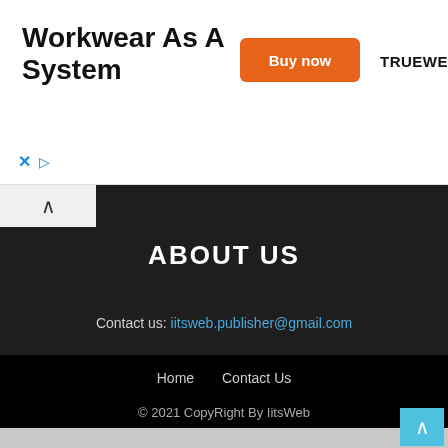[Figure (screenshot): Advertisement banner: 'Workwear As A System' with an orange 'Buy now' button and TRUEWERK brand logo, with close (x) and play (▷) controls.]
ABOUT US
Contact us: iitsweb.publisher@gmail.com
Home
Contact Us
© 2021 CopyRight By IitsWeb